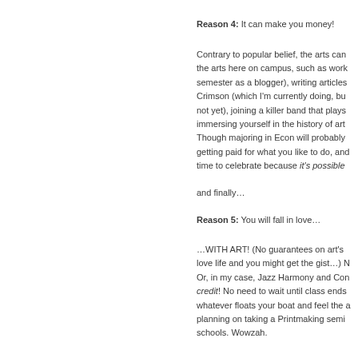Reason 4: It can make you money!
Contrary to popular belief, the arts can the arts here on campus, such as work semester as a blogger), writing articles Crimson (which I'm currently doing, bu not yet), joining a killer band that plays immersing yourself in the history of art Though majoring in Econ will probably getting paid for what you like to do, and time to celebrate because it's possible
and finally…
Reason 5: You will fall in love…
…WITH ART! (No guarantees on art's love life and you might get the gist…) N Or, in my case, Jazz Harmony and Con credit! No need to wait until class ends whatever floats your boat and feel the a planning on taking a Printmaking semi schools. Wowzah.